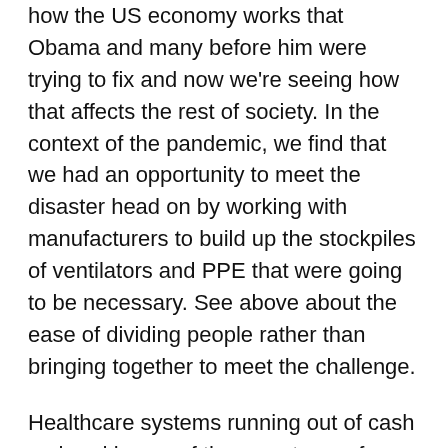how the US economy works that Obama and many before him were trying to fix and now we're seeing how that affects the rest of society. In the context of the pandemic, we find that we had an opportunity to meet the disaster head on by working with manufacturers to build up the stockpiles of ventilators and PPE that were going to be necessary. See above about the ease of dividing people rather than bringing together to meet the challenge.
Healthcare systems running out of cash on hand is one of the symptoms of poorly run healthcare (and a poorly run country, in my opinion) – or healthcare run on a for-profit basis. We can fight the virus and put the economy on hold if the money we're borrowing to shore up the economy goes into fighting the disaster and to the people it needs to help. It's the same with giving tax breaks at the top rather than minimum wage increases at the bottom. That wage